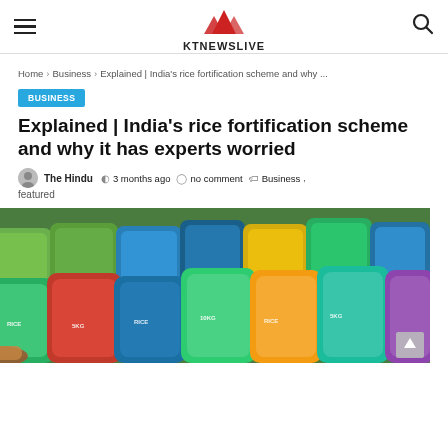KTNEWSLIVE
Home > Business > Explained | India's rice fortification scheme and why ...
BUSINESS
Explained | India's rice fortification scheme and why it has experts worried
The Hindu   3 months ago   no comment   Business ,  featured
[Figure (photo): Stacked bags of rice displayed in a shop, colorful packaging in green, blue, and yellow.]